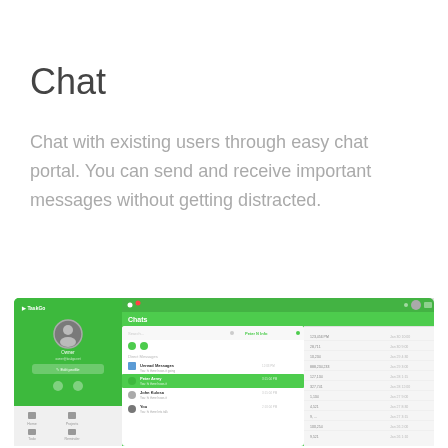Chat
Chat with existing users through easy chat portal. You can send and receive important messages without getting distracted.
[Figure (screenshot): Screenshot of a TaskGo chat application interface showing a green-themed chat dashboard with a left sidebar containing user profile, navigation icons, and bottom nav items (Home, Projects, Todo, Reminder). The main area shows a Chats panel with a list of conversations including active and inactive states, and a right panel with additional data.]